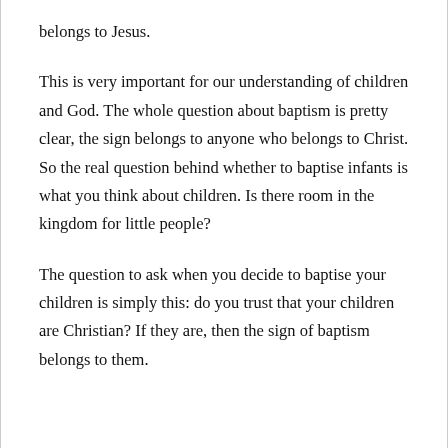belongs to Jesus.
This is very important for our understanding of children and God. The whole question about baptism is pretty clear, the sign belongs to anyone who belongs to Christ. So the real question behind whether to baptise infants is what you think about children. Is there room in the kingdom for little people?
The question to ask when you decide to baptise your children is simply this: do you trust that your children are Christian? If they are, then the sign of baptism belongs to them.